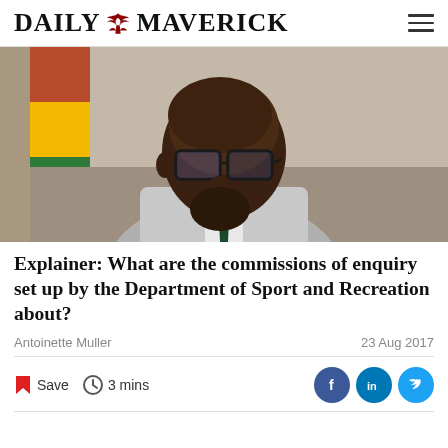DAILY MAVERICK
[Figure (photo): A man wearing glasses and a grey suit with a dark green tie, seated in front of a South African flag. He appears to be a government official or minister.]
Explainer: What are the commissions of enquiry set up by the Department of Sport and Recreation about?
Antoinette Muller
23 Aug 2017
Save   3 mins